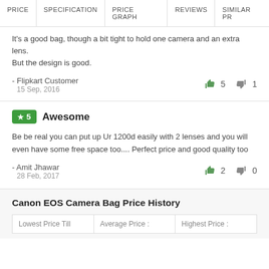PRICE | SPECIFICATION | PRICE GRAPH | REVIEWS | SIMILAR PR
It's a good bag, though a bit tight to hold one camera and an extra lens. But the design is good.
- Flipkart Customer
15 Sep, 2016
👍 5   👎 1
★5  Awesome
Be be real you can put up Ur 1200d easily with 2 lenses and you will even have some free space too.... Perfect price and good quality too
- Amit Jhawar
28 Feb, 2017
👍 2   👎 0
Canon EOS Camera Bag Price History
| Lowest Price Till | Average Price : | Highest Price : |
| --- | --- | --- |